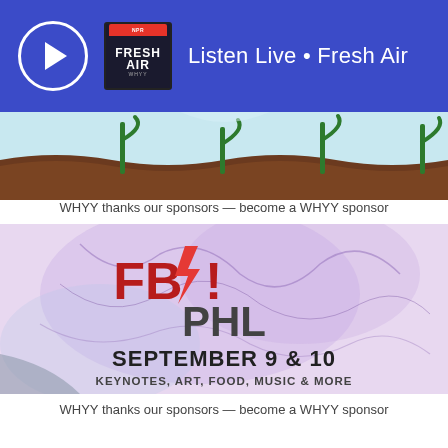Listen Live • Fresh Air
[Figure (illustration): Partial view of an illustrated image showing plants growing from brown soil against a light blue background — top portion of a garden/nature illustration.]
WHYY thanks our sponsors — become a WHYY sponsor
[Figure (infographic): FB! PHL event advertisement with lavender/purple abstract background. Large red 'FB!' logo with lightning bolt, dark gray 'PHL' text below, then 'SEPTEMBER 9 & 10' in large dark text, and 'KEYNOTES, ART, FOOD, MUSIC & MORE' below that.]
WHYY thanks our sponsors — become a WHYY sponsor